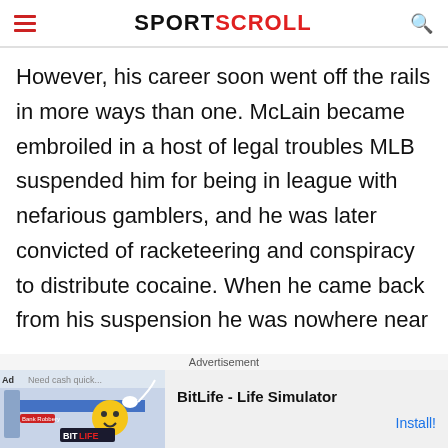SPORTSCROLL
However, his career soon went off the rails in more ways than one. McLain became embroiled in a host of legal troubles MLB suspended him for being in league with nefarious gamblers, and he was later convicted of racketeering and conspiracy to distribute cocaine. When he came back from his suspension he was nowhere near
Advertisement
[Figure (other): BitLife - Life Simulator advertisement banner with colorful game imagery and Install button]